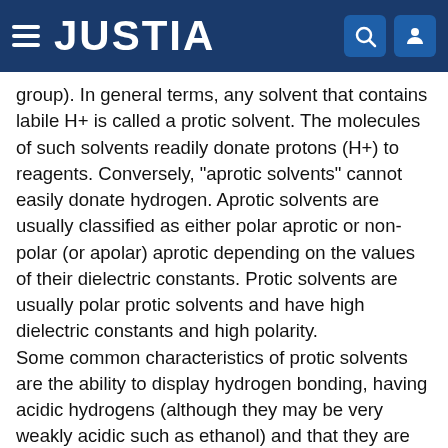JUSTIA
group). In general terms, any solvent that contains labile H+ is called a protic solvent. The molecules of such solvents readily donate protons (H+) to reagents. Conversely, “aprotic solvents” cannot easily donate hydrogen. Aprotic solvents are usually classified as either polar aprotic or non-polar (or apolar) aprotic depending on the values of their dielectric constants. Protic solvents are usually polar protic solvents and have high dielectric constants and high polarity.
Some common characteristics of protic solvents are the ability to display hydrogen bonding, having acidic hydrogens (although they may be very weakly acidic such as ethanol) and that they are able to dissolve salts. Examples include water, most alcohols, formic acid, hydrogen fluoride, nitromethane, acetic acid and ammonia.